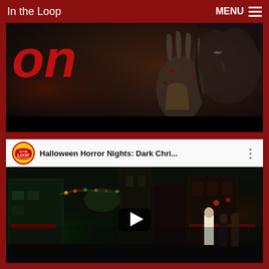In the Loop   MENU
[Figure (photo): Horror movie promotional image showing a creature with clawed bloody hands and a monstrous face with long hair, partial red stylized text 'on' visible in upper left, dark atmospheric background]
[Figure (screenshot): YouTube video player embed showing 'Halloween Horror Nights: Dark Chri...' with In the Loop logo, three-dot menu, and video thumbnail of a dark Halloween Horror Nights street scene with Christmas decorations, green glow on left, people walking, play button in center]